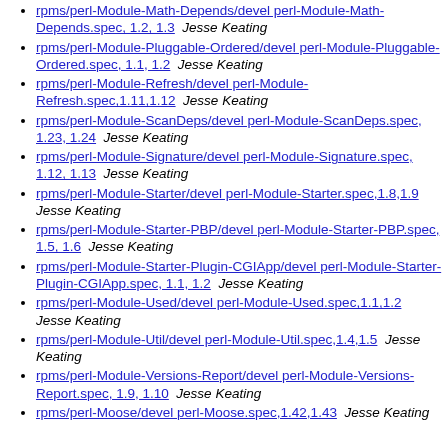rpms/perl-Module-Math-Depends/devel perl-Module-Math-Depends.spec, 1.2, 1.3  Jesse Keating
rpms/perl-Module-Pluggable-Ordered/devel perl-Module-Pluggable-Ordered.spec, 1.1, 1.2  Jesse Keating
rpms/perl-Module-Refresh/devel perl-Module-Refresh.spec,1.11,1.12  Jesse Keating
rpms/perl-Module-ScanDeps/devel perl-Module-ScanDeps.spec, 1.23, 1.24  Jesse Keating
rpms/perl-Module-Signature/devel perl-Module-Signature.spec, 1.12, 1.13  Jesse Keating
rpms/perl-Module-Starter/devel perl-Module-Starter.spec,1.8,1.9  Jesse Keating
rpms/perl-Module-Starter-PBP/devel perl-Module-Starter-PBP.spec, 1.5, 1.6  Jesse Keating
rpms/perl-Module-Starter-Plugin-CGIApp/devel perl-Module-Starter-Plugin-CGIApp.spec, 1.1, 1.2  Jesse Keating
rpms/perl-Module-Used/devel perl-Module-Used.spec,1.1,1.2  Jesse Keating
rpms/perl-Module-Util/devel perl-Module-Util.spec,1.4,1.5  Jesse Keating
rpms/perl-Module-Versions-Report/devel perl-Module-Versions-Report.spec, 1.9, 1.10  Jesse Keating
rpms/perl-Moose/devel perl-Moose.spec,1.42,1.43  Jesse Keating